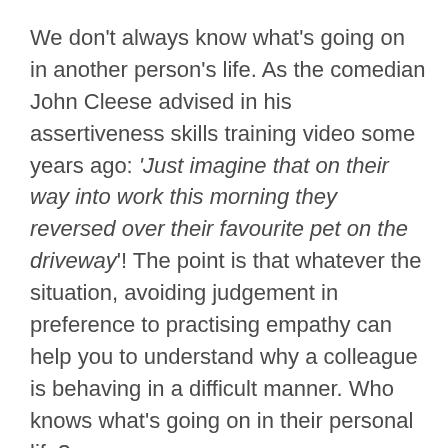We don't always know what's going on in another person's life. As the comedian John Cleese advised in his assertiveness skills training video some years ago: 'Just imagine that on their way into work this morning they reversed over their favourite pet on the driveway'! The point is that whatever the situation, avoiding judgement in preference to practising empathy can help you to understand why a colleague is behaving in a difficult manner. Who knows what's going on in their personal life?
With some empathy and compassion, you may discover that if you were in similar straits, you would be doing the same thing(s) or worse. By getting to know them a bit better, you may see that their circumstances and experiences affect